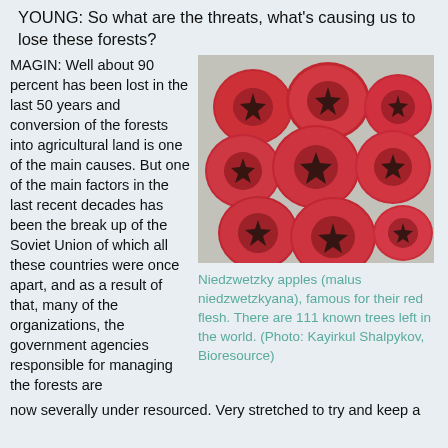YOUNG: So what are the threats, what's causing us to lose these forests?
MAGIN: Well about 90 percent has been lost in the last 50 years and conversion of the forests into agricultural land is one of the main causes. But one of the main factors in the last recent decades has been the break up of the Soviet Union of which all these countries were once apart, and as a result of that, many of the organizations, the government agencies responsible for managing the forests are now severally under resourced. Very stretched to try and keep a
[Figure (photo): Overhead view of nine Niedzwetzky apples (malus niedzwetzkyana) showing their red flesh with star-shaped cores, arranged on a newspaper background.]
Niedzwetzky apples (malus niedzwetzkyana), famous for their red flesh. There are 111 known trees left in the world. (Photo: Kayirkul Shalpykov, Bioresource)